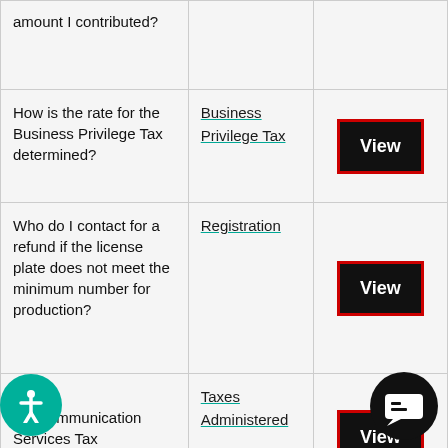| Question | Topic | Action |
| --- | --- | --- |
| amount I contributed? |  | View |
| How is the rate for the Business Privilege Tax determined? | Business Privilege Tax | View |
| Who do I contact for a refund if the license plate does not meet the minimum number for production? | Registration | View |
| Mobile Telecommunication Services Tax | Taxes Administered | View |
| When rolling over an out of state 529 plan to a home qualifying... | Income Tax | View |